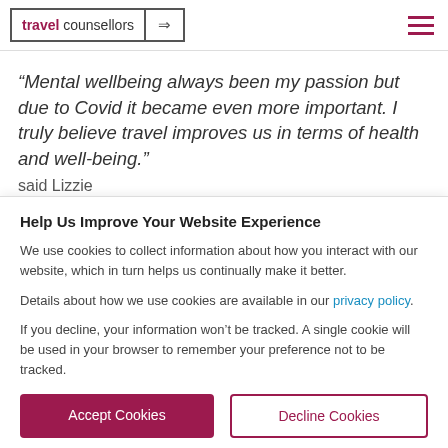travel counsellors →
“Mental wellbeing always been my passion but due to Covid it became even more important. I truly believe travel improves us in terms of health and well-being.” said Lizzie
Help Us Improve Your Website Experience
We use cookies to collect information about how you interact with our website, which in turn helps us continually make it better.
Details about how we use cookies are available in our privacy policy.
If you decline, your information won’t be tracked. A single cookie will be used in your browser to remember your preference not to be tracked.
Accept Cookies | Decline Cookies